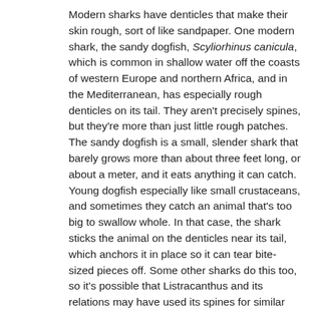Modern sharks have denticles that make their skin rough, sort of like sandpaper. One modern shark, the sandy dogfish, Scyliorhinus canicula, which is common in shallow water off the coasts of western Europe and northern Africa, and in the Mediterranean, has especially rough denticles on its tail. They aren't precisely spines, but they're more than just little rough patches. The sandy dogfish is a small, slender shark that barely grows more than about three feet long, or about a meter, and it eats anything it can catch. Young dogfish especially like small crustaceans, and sometimes they catch an animal that's too big to swallow whole. In that case, the shark sticks the animal on the denticles near its tail, which anchors it in place so it can tear bite-sized pieces off. Some other sharks do this too, so it's possible that Listracanthus and its relations may have used its spines for similar behavior.